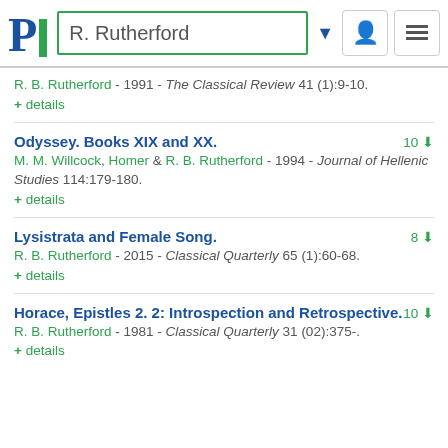R. Rutherford
R. B. Rutherford - 1991 - The Classical Review 41 (1):9-10.
+ details
Odyssey. Books XIX and XX.
M. M. Willcock, Homer & R. B. Rutherford - 1994 - Journal of Hellenic Studies 114:179-180.
+ details
Lysistrata and Female Song.
R. B. Rutherford - 2015 - Classical Quarterly 65 (1):60-68.
+ details
Horace, Epistles 2. 2: Introspection and Retrospective.
R. B. Rutherford - 1981 - Classical Quarterly 31 (02):375-.
+ details